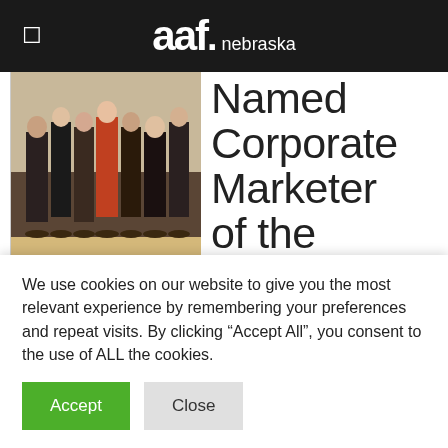aaf. nebraska
[Figure (photo): Group photo of people standing together, lower bodies visible, taken in an indoor setting]
Named Corporate Marketer of the Year
Agency Receives Top
We use cookies on our website to give you the most relevant experience by remembering your preferences and repeat visits. By clicking “Accept All”, you consent to the use of ALL the cookies.